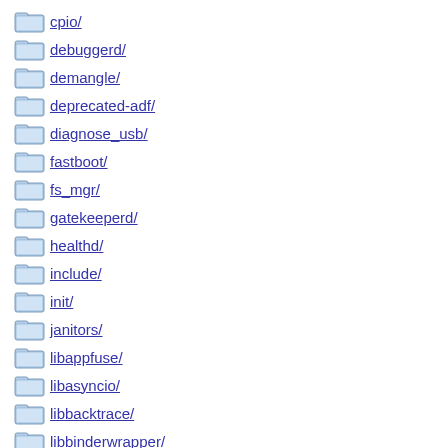cpio/
debuggerd/
demangle/
deprecated-adf/
diagnose_usb/
fastboot/
fs_mgr/
gatekeeperd/
healthd/
include/
init/
janitors/
libappfuse/
libasyncio/
libbacktrace/
libbinderwrapper/
libcrypto_utils/
libcutils/
libdiskconfig/